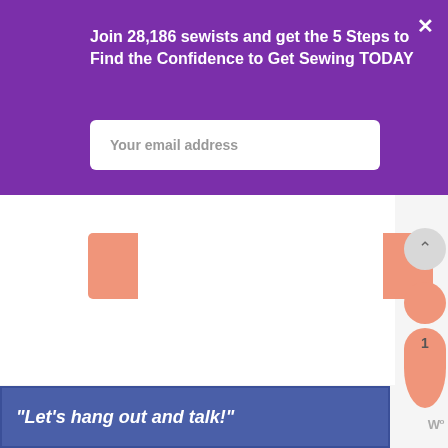Join 28,186 sewists and get the 5 Steps to Find the Confidence to Get Sewing TODAY
Your email address
×
“Let’s hang out and talk!”